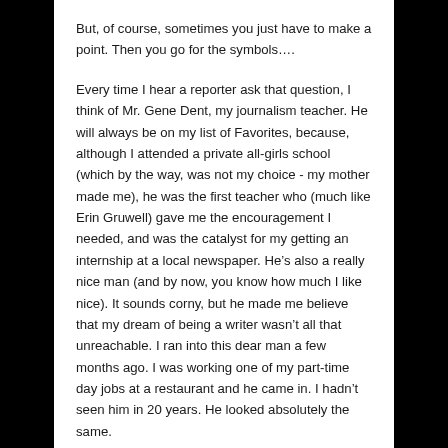But, of course, sometimes you just have to make a point. Then you go for the symbols….
Every time I hear a reporter ask that question, I think of Mr. Gene Dent, my journalism teacher. He will always be on my list of Favorites, because, although I attended a private all-girls school (which by the way, was not my choice - my mother made me), he was the first teacher who (much like Erin Gruwell) gave me the encouragement I needed, and was the catalyst for my getting an internship at a local newspaper. He's also a really nice man (and by now, you know how much I like nice). It sounds corny, but he made me believe that my dream of being a writer wasn't all that unreachable. I ran into this dear man a few months ago. I was working one of my part-time day jobs at a restaurant and he came in. I hadn't seen him in 20 years. He looked absolutely the same.
I was so thrilled to tell him what I'd been doing in that time. Upon hearing about my book, he was anxious to see it, so I ran